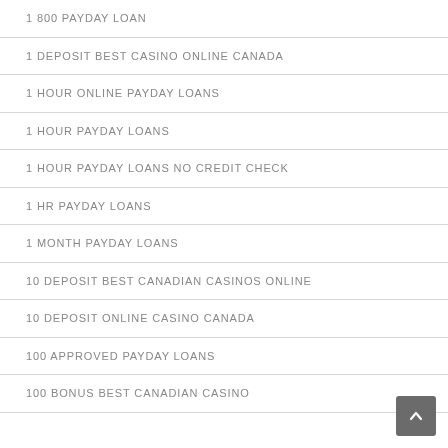1 800 PAYDAY LOAN
1 DEPOSIT BEST CASINO ONLINE CANADA
1 HOUR ONLINE PAYDAY LOANS
1 HOUR PAYDAY LOANS
1 HOUR PAYDAY LOANS NO CREDIT CHECK
1 HR PAYDAY LOANS
1 MONTH PAYDAY LOANS
10 DEPOSIT BEST CANADIAN CASINOS ONLINE
10 DEPOSIT ONLINE CASINO CANADA
100 APPROVED PAYDAY LOANS
100 BONUS BEST CANADIAN CASINO